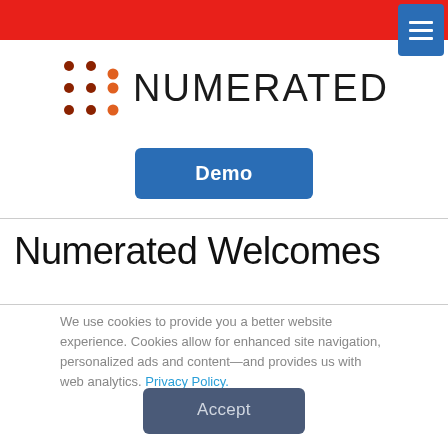[Figure (logo): Numerated logo with dot-grid icon on left and NUMERATED text on right]
Demo
Numerated Welcomes
We use cookies to provide you a better website experience. Cookies allow for enhanced site navigation, personalized ads and content—and provides us with web analytics. Privacy Policy.
Accept